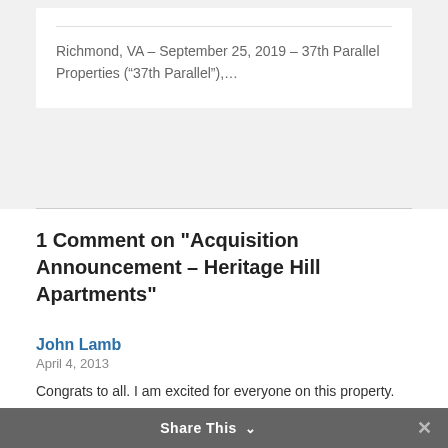Richmond, VA – September 25, 2019 – 37th Parallel Properties (“37th Parallel”),...
1 Comment on "Acquisition Announcement – Heritage Hill Apartments"
John Lamb
April 4, 2013
Congrats to all. I am excited for everyone on this property.
Share This